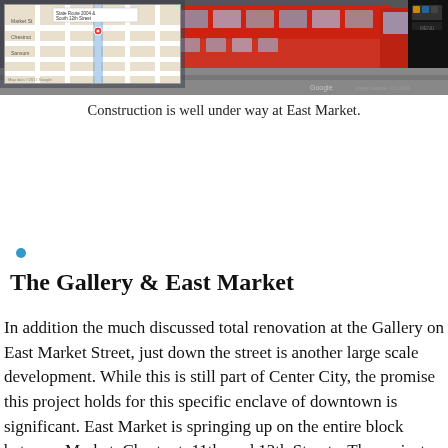[Figure (photo): Street-level photo of East Market construction site showing red double-decker buses and construction activity, with a Google Maps inset in the top left corner showing the location at State Route 2004 & South 12th Street]
Construction is well under way at East Market.
The Gallery & East Market
In addition the much discussed total renovation at the Gallery on East Market Street, just down the street is another large scale development. While this is still part of Center City, the promise this project holds for this specific enclave of downtown is significant. East Market is springing up on the entire block between Market, Chestnut, 11th, and 12th Streets. The project consists of three buildings – two